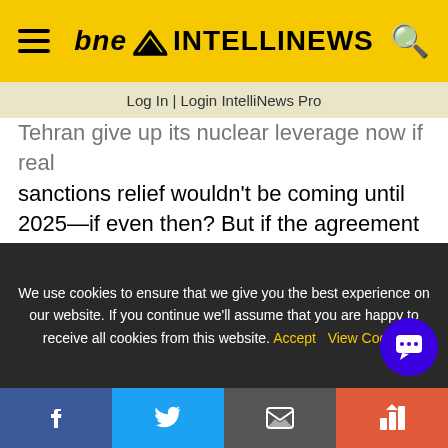bne INTELLINEWS
Log In | Login IntelliNews Pro
Tehran give up its nuclear leverage now if real sanctions relief wouldn't be coming until 2025—if even then? But if the agreement entered a coma, Tehran would keep its nuclear leverage while strengthening its economic and political ties with Moscow, Beijing and other governments that would disregard Washington's sanctions. While clearly not optimal, it is preferable to both a sanctions-less deal and war with the U.S. This would, however, require that Tehran temper its nuclear advances, which it
We use cookies to ensure that we give you the best experience on our website. If you continue we'll assume that you are happy to receive all cookies from this website. Accept  View Cookie
Facebook | Twitter | Email | RSS